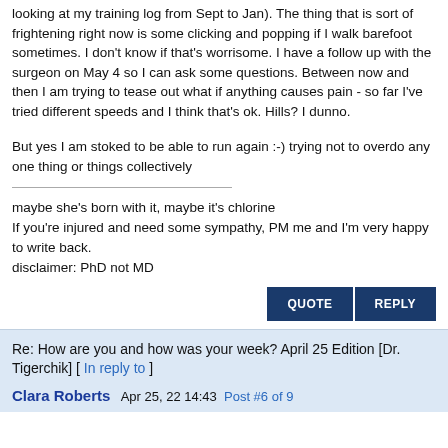looking at my training log from Sept to Jan). The thing that is sort of frightening right now is some clicking and popping if I walk barefoot sometimes. I don't know if that's worrisome. I have a follow up with the surgeon on May 4 so I can ask some questions. Between now and then I am trying to tease out what if anything causes pain - so far I've tried different speeds and I think that's ok. Hills? I dunno.

But yes I am stoked to be able to run again :-) trying not to overdo any one thing or things collectively
maybe she's born with it, maybe it's chlorine
If you're injured and need some sympathy, PM me and I'm very happy to write back.
disclaimer: PhD not MD
Re: How are you and how was your week? April 25 Edition [Dr. Tigerchik] [ In reply to ]
Clara Roberts   Apr 25, 22 14:43   Post #6 of 9